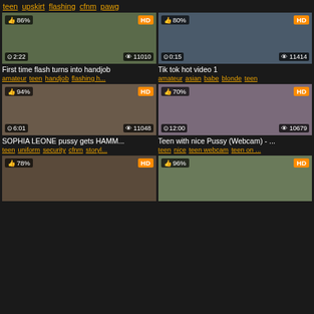teen upskirt flashing cfnm pawg
amateur brunette cumshot teen ...
[Figure (screenshot): Video thumbnail 86% HD, 2:22 duration, 11010 views]
[Figure (screenshot): Video thumbnail 80% HD, 0:15 duration, 11414 views]
First time flash turns into handjob
Tik tok hot video 1
amateur teen handjob flashing h...
amateur asian babe blonde teen
[Figure (screenshot): Video thumbnail 94% HD, 6:01 duration, 11048 views]
[Figure (screenshot): Video thumbnail 70% HD, 12:00 duration, 10679 views]
SOPHIA LEONE pussy gets HAMM...
Teen with nice Pussy (Webcam) - ...
teen uniform security cfnm storyl...
teen nice teen webcam teen on ...
[Figure (screenshot): Video thumbnail 78% HD, partial view]
[Figure (screenshot): Video thumbnail 96% HD, partial view]